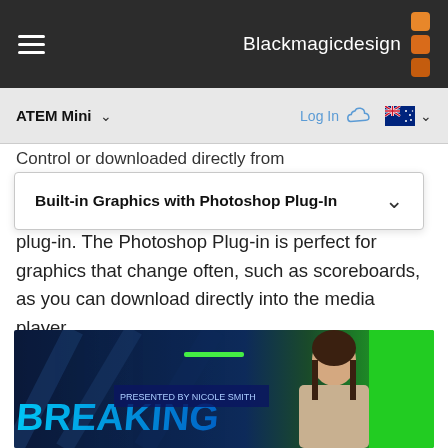[Figure (screenshot): Blackmagic Design website navigation bar with hamburger menu on left and Blackmagic Design logo with orange grid squares on right, dark background]
[Figure (screenshot): Sub-navigation bar showing ATEM Mini with dropdown chevron on left, Log In with cloud icon in center, and Australian flag with dropdown chevron on right]
Control or downloaded directly from
Built-in Graphics with Photoshop Plug-In
plug-in. The Photoshop Plug-in is perfect for graphics that change often, such as scoreboards, as you can download directly into the media player.
[Figure (photo): News broadcast scene showing a female presenter/anchor in front of a green screen with text overlay showing BREAKING NEWS and name lower third reading BY NICOLE SMITH]